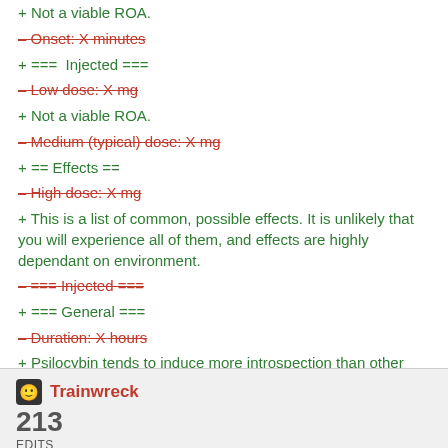+ Not a viable ROA.
- Onset: X minutes (removed)
+ === Injected ===
- Low dose: X mg (removed)
+ Not a viable ROA.
- Medium (typical) dose: X mg (removed)
+ == Effects ==
- High dose: X mg (removed)
+ This is a list of common, possible effects. It is unlikely that you will experience all of them, and effects are highly dependant on environment.
- === Injected === (removed)
+ === General ===
- Duration: X hours (removed)
+ Psilocybin tends to induce more introspection than other psychedelics.
- Onset: X minutes (removed)
+ === Positive ===
- Low dose: X mg (removed)
Trainwreck
213 EDITS